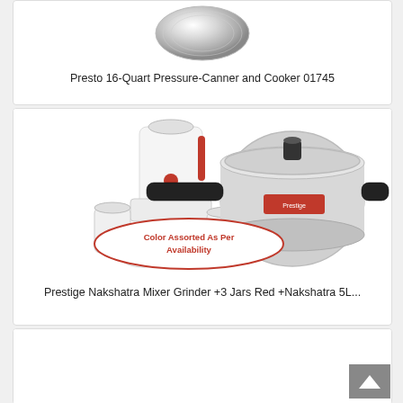[Figure (photo): Metallic lid/disc of a Presto 16-Quart Pressure Canner, top-down view showing silver circular lid]
Presto 16-Quart Pressure-Canner and Cooker 01745
[Figure (photo): Prestige Nakshatra Mixer Grinder with 3 jars (red accents, white body) alongside a silver Nakshatra 5L pressure cooker; oval label reads 'Color Assorted As Per Availability']
Prestige Nakshatra Mixer Grinder +3 Jars Red +Nakshatra 5L...
[Figure (photo): Partial view of a third product card (cut off at bottom of page)]